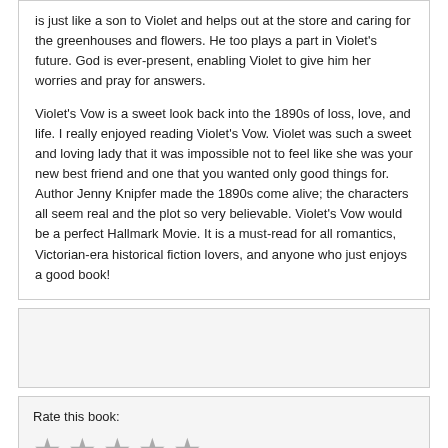is just like a son to Violet and helps out at the store and caring for the greenhouses and flowers. He too plays a part in Violet's future. God is ever-present, enabling Violet to give him her worries and pray for answers.

Violet's Vow is a sweet look back into the 1890s of loss, love, and life. I really enjoyed reading Violet's Vow. Violet was such a sweet and loving lady that it was impossible not to feel like she was your new best friend and one that you wanted only good things for. Author Jenny Knipfer made the 1890s come alive; the characters all seem real and the plot so very believable. Violet's Vow would be a perfect Hallmark Movie. It is a must-read for all romantics, Victorian-era historical fiction lovers, and anyone who just enjoys a good book!
Rate this book:
Name:
Comment/Review: